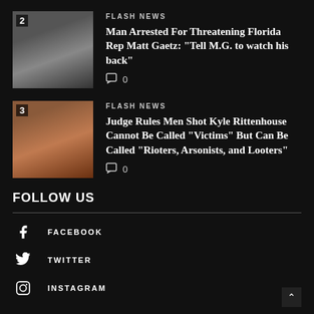[Figure (photo): Man in suit, numbered thumbnail 2]
FLASH NEWS
Man Arrested For Threatening Florida Rep Matt Gaetz: “Tell M.G. to watch his back”
0
[Figure (photo): Young man mugshot, numbered thumbnail 3]
FLASH NEWS
Judge Rules Men Shot Kyle Rittenhouse Cannot Be Called “Victims” But Can Be Called “Rioters, Arsonists, and Looters”
0
FOLLOW US
FACEBOOK
TWITTER
INSTAGRAM